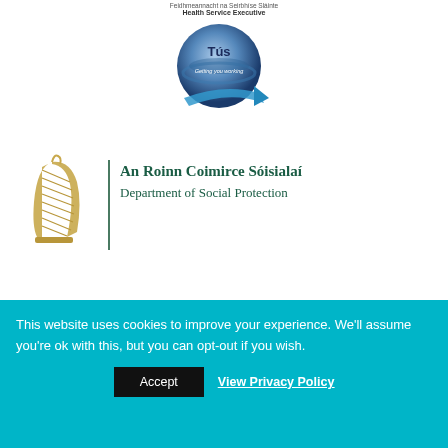[Figure (logo): Health Service Executive logo with Irish text above and 'Health Service Executive' below]
[Figure (logo): Tús 'Getting you working' branded sphere logo with blue arrow]
[Figure (logo): Irish harp symbol for Department of Social Protection]
An Roinn Coimirce Sóisialaí
Department of Social Protection
CRO No.: 249267 – Registered Charity No.: 20034696 –
CHY No.: 13989
This website uses cookies to improve your experience. We'll assume you're ok with this, but you can opt-out if you wish.